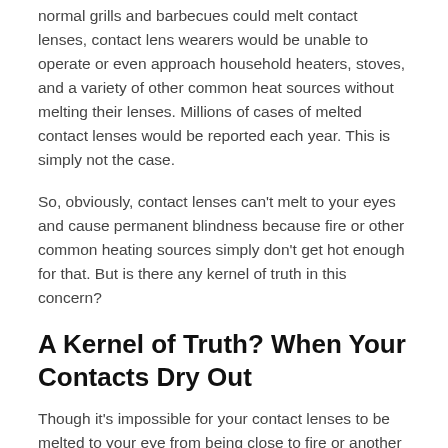normal grills and barbecues could melt contact lenses, contact lens wearers would be unable to operate or even approach household heaters, stoves, and a variety of other common heat sources without melting their lenses. Millions of cases of melted contact lenses would be reported each year. This is simply not the case.
So, obviously, contact lenses can't melt to your eyes and cause permanent blindness because fire or other common heating sources simply don't get hot enough for that. But is there any kernel of truth in this concern?
A Kernel of Truth? When Your Contacts Dry Out
Though it's impossible for your contact lenses to be melted to your eye from being close to fire or another heating element, there is a very real way that you may feel like your contacts are temporarily stuck to your eye.